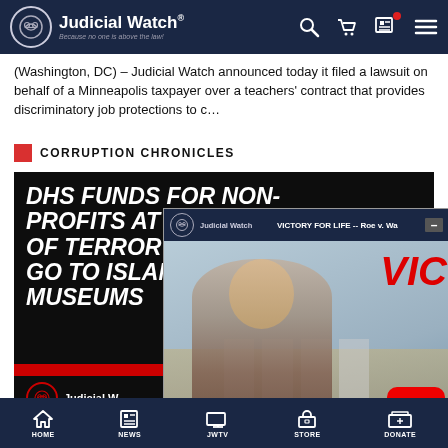Judicial Watch — Because no one is above the law!
(Washington, DC) – Judicial Watch announced today it filed a lawsuit on behalf of a Minneapolis taxpayer over a teachers' contract that provides discriminatory job protections to c…
CORRUPTION CHRONICLES
[Figure (screenshot): Article card with bold white text on dark background: 'DHS FUNDS FOR NON-PROFITS AT HIGH RISK OF TERROR GO TO ISLA... MUSEUMS...' with Judicial Watch logo and red bar at bottom]
[Figure (screenshot): Video overlay popup showing Judicial Watch branding with title 'VICTORY FOR LIFE -- Roe v. Wa...' and thumbnail of man in front of Supreme Court building, with YouTube play button]
DHS Funds for…
HOME  NEWS  JWTV  STORE  DONATE